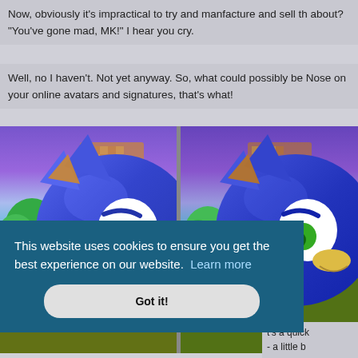Now, obviously it's impractical to try and manfacture and sell th about? "You've gone mad, MK!" I hear you cry.
Well, no I haven't. Not yet anyway. So, what could possibly be Nose on your online avatars and signatures, that's what!
[Figure (photo): Two side-by-side images of Sonic the Hedgehog character in 3D render, blue hedgehog with green eyes, set against a colorful outdoor background. Left image shows Sonic with a raised white gloved hand/finger. Right image shows Sonic without the raised hand gesture.]
This website uses cookies to ensure you get the best experience on our website.  Learn more
Got it!
it's a quick - a little b